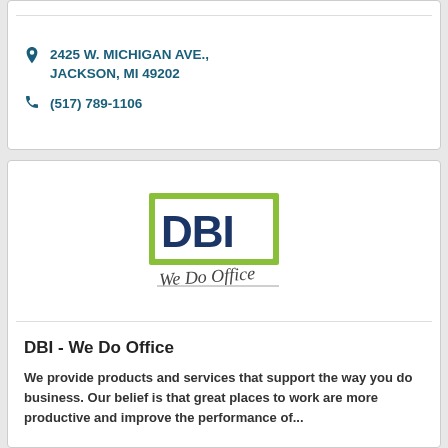2425 W. MICHIGAN AVE., JACKSON, MI 49202
(517) 789-1106
[Figure (logo): DBI - We Do Office logo: green rectangle with dark blue 'DBI' text, and cursive 'We Do Office' below]
DBI - We Do Office
We provide products and services that support the way you do business. Our belief is that great places to work are more productive and improve the performance of...